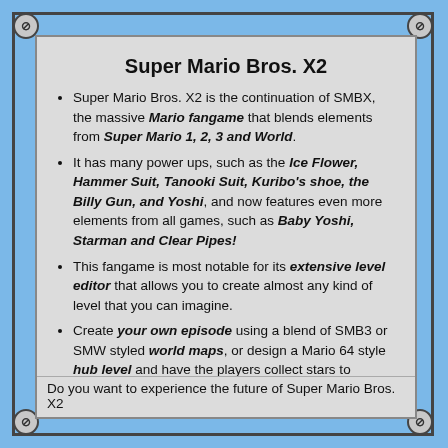Super Mario Bros. X2
Super Mario Bros. X2 is the continuation of SMBX, the massive Mario fangame that blends elements from Super Mario 1, 2, 3 and World.
It has many power ups, such as the Ice Flower, Hammer Suit, Tanooki Suit, Kuribo's shoe, the Billy Gun, and Yoshi, and now features even more elements from all games, such as Baby Yoshi, Starman and Clear Pipes!
This fangame is most notable for its extensive level editor that allows you to create almost any kind of level that you can imagine.
Create your own episode using a blend of SMB3 or SMW styled world maps, or design a Mario 64 style hub level and have the players collect stars to advance!
Do you want to experience the future of Super Mario Bros. X2